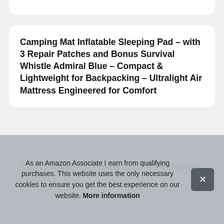Camping Mat Inflatable Sleeping Pad – with 3 Repair Patches and Bonus Survival Whistle Admiral Blue – Compact & Lightweight for Backpacking – Ultralight Air Mattress Engineered for Comfort
Top 10 Galaxy J7 Phone Case – Electronics Features
As an Amazon Associate I earn from qualifying purchases. This website uses the only necessary cookies to ensure you get the best experience on our website. More information